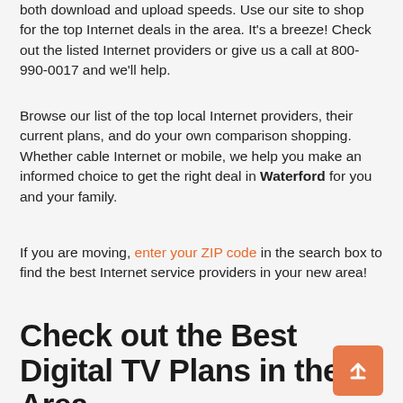both download and upload speeds. Use our site to shop for the top Internet deals in the area. It's a breeze! Check out the listed Internet providers or give us a call at 800-990-0017 and we'll help.
Browse our list of the top local Internet providers, their current plans, and do your own comparison shopping. Whether cable Internet or mobile, we help you make an informed choice to get the right deal in Waterford for you and your family.
If you are moving, enter your ZIP code in the search box to find the best Internet service providers in your new area!
Check out the Best Digital TV Plans in the Area